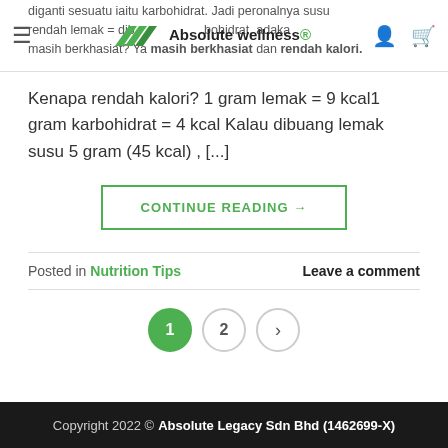Absolute wellness
diganti sesuatu iaitu karbohidrat. Jadi peronalnya susu rendah lemak = dibuang lemak + ditambah karbohidrat, adakah masih berkhasiat? Ya masih berkhasiat dan rendah kalori.
Kenapa rendah kalori? 1 gram lemak = 9 kcal1 gram karbohidrat = 4 kcal Kalau dibuang lemak susu 5 gram (45 kcal) , [...]
CONTINUE READING →
Posted in Nutrition Tips   Leave a comment
1  2  >
Copyright 2022 © Absolute Legacy Sdn Bhd (1462699-X)